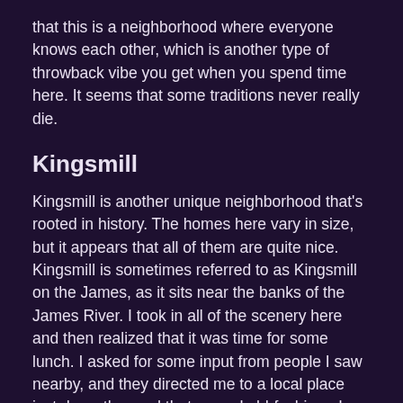that this is a neighborhood where everyone knows each other, which is another type of throwback vibe you get when you spend time here. It seems that some traditions never really die.
Kingsmill
Kingsmill is another unique neighborhood that's rooted in history. The homes here vary in size, but it appears that all of them are quite nice. Kingsmill is sometimes referred to as Kingsmill on the James, as it sits near the banks of the James River. I took in all of the scenery here and then realized that it was time for some lunch. I asked for some input from people I saw nearby, and they directed me to a local place just down the road that served old-fashioned, local cuisine. I was ecstatic that I had listened to that input as my food arrived, as I was